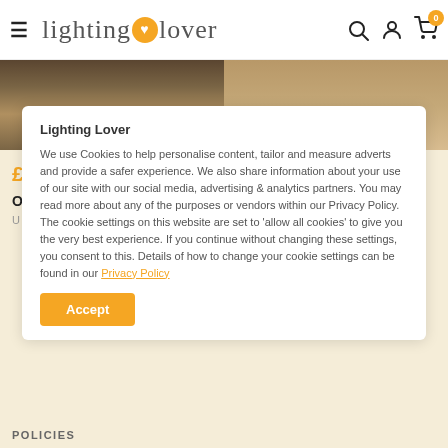lighting lover — navigation header with search, account, and cart icons
£159.00
Orbit Portable Table Lamp
UMAGE
£179.00
Asteria Move - Port... Lamp
Lighting Lover

We use Cookies to help personalise content, tailor and measure adverts and provide a safer experience. We also share information about your use of our site with our social media, advertising & analytics partners. You may read more about any of the purposes or vendors within our Privacy Policy. The cookie settings on this website are set to 'allow all cookies' to give you the very best experience. If you continue without changing these settings, you consent to this. Details of how to change your cookie settings can be found in our Privacy Policy
Accept
POLICIES